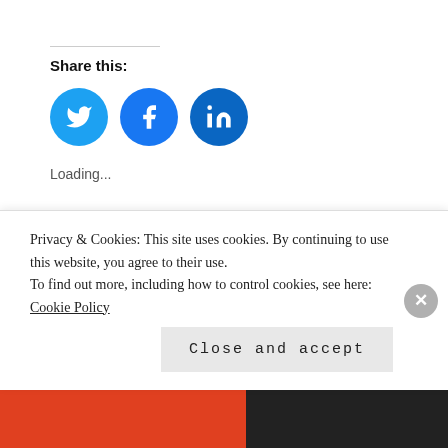Share this:
[Figure (illustration): Three circular social media share buttons: Twitter (blue bird icon), Facebook (blue f icon), LinkedIn (blue in icon)]
Loading...
RELATED
Movie Marketing Madness: You, Me &
[Figure (illustration): Broken image placeholder followed by text: fredclaus_bigposter1]
Privacy & Cookies: This site uses cookies. By continuing to use this website, you agree to their use.
To find out more, including how to control cookies, see here: Cookie Policy
Close and accept